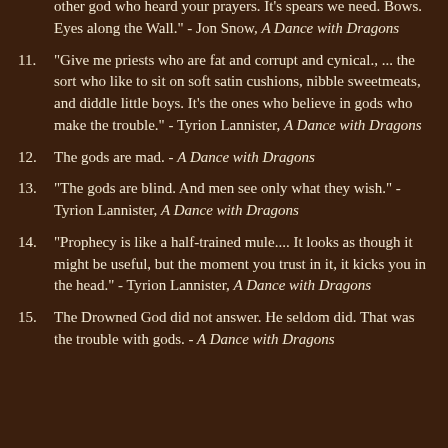other god who heard your prayers. It's spears we need. Bows. Eyes along the Wall." - Jon Snow, A Dance with Dragons
11. "Give me priests who are fat and corrupt and cynical., ... the sort who like to sit on soft satin cushions, nibble sweetmeats, and diddle little boys. It's the ones who believe in gods who make the trouble." - Tyrion Lannister, A Dance with Dragons
12. The gods are mad. - A Dance with Dragons
13. "The gods are blind. And men see only what they wish." - Tyrion Lannister, A Dance with Dragons
14. "Prophecy is like a half-trained mule.... It looks as though it might be useful, but the moment you trust in it, it kicks you in the head." - Tyrion Lannister, A Dance with Dragons
15. The Drowned God did not answer. He seldom did. That was the trouble with gods. - A Dance with Dragons